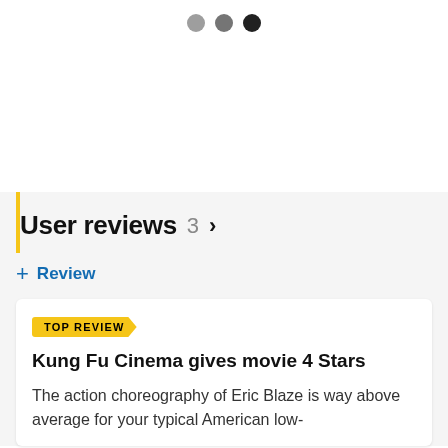[Figure (other): Three pagination dots: light gray, medium gray, and dark/black, indicating a carousel or slideshow position indicator]
User reviews 3 >
+ Review
TOP REVIEW
Kung Fu Cinema gives movie 4 Stars
The action choreography of Eric Blaze is way above average for your typical American low-